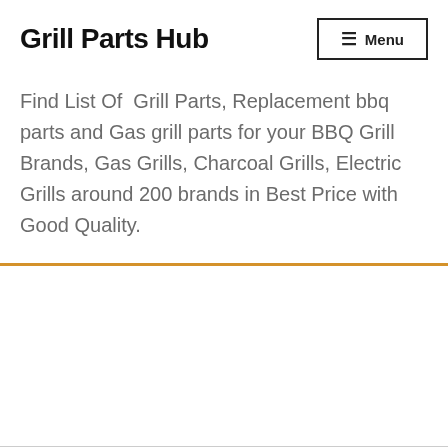Grill Parts Hub
Menu
Find List Of Grill Parts, Replacement bbq parts and Gas grill parts for your BBQ Grill Brands, Gas Grills, Charcoal Grills, Electric Grills around 200 brands in Best Price with Good Quality.
[Figure (infographic): Bottom navigation bar with user/account icon, search icon, and shopping cart icon with badge showing 0]